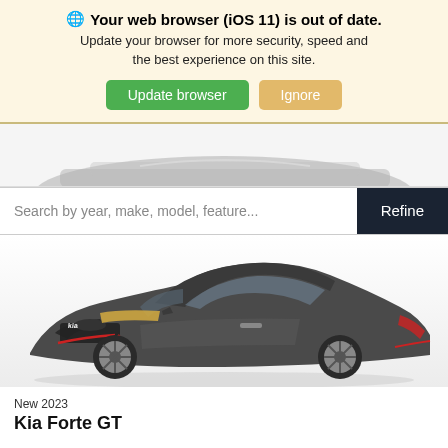🌐 Your web browser (iOS 11) is out of date. Update your browser for more security, speed and the best experience on this site. Update browser  Ignore
[Figure (photo): Partial side view of a gray car silhouette shown at the top of a vehicle listing page]
Search by year, make, model, feature...
[Figure (photo): Front three-quarter view of a dark gray 2023 Kia Forte GT with red accent trim on the front bumper and sport alloy wheels]
New 2023
Kia Forte GT